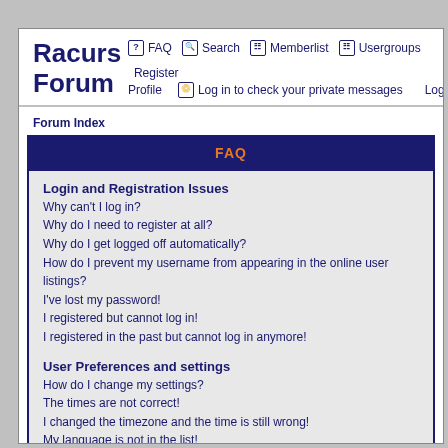Racurs Forum
FAQ  Search  Memberlist  Usergroups  Register  Profile  Log in to check your private messages  Log in
Forum Index
FAQ
Login and Registration Issues
Why can't I log in?
Why do I need to register at all?
Why do I get logged off automatically?
How do I prevent my username from appearing in the online user listings?
I've lost my password!
I registered but cannot log in!
I registered in the past but cannot log in anymore!
User Preferences and settings
How do I change my settings?
The times are not correct!
I changed the timezone and the time is still wrong!
My language is not in the list!
How do I show an image below my username?
How do I change my rank?
When I click the email link for a user it asks me to log in.